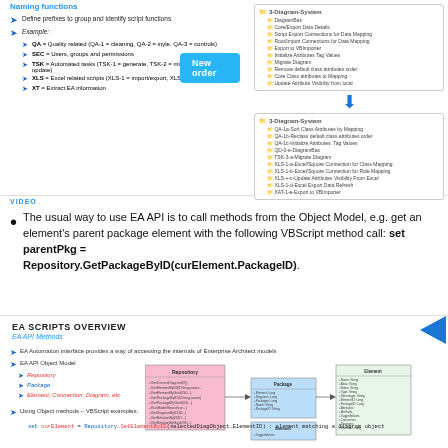[Figure (screenshot): Naming conventions slide showing script prefix examples (QA, SEC, TSK, XLS, XT) with a diagram showing 3-Diagram-System structure and a 'New order' button]
VIDEO
The usual way to use EA API is to call methods from the Object Model, e.g. get an element's parent package element with the following VBScript method call: set parentPkg = Repository.GetPackageByID(curElement.PackageID).
[Figure (screenshot): EA Scripts Overview slide showing EA API Methods, EA Automation Interface, EA API Object Model with Repository, Package, Element/Connection/Diagram etc., and UML class diagram showing object model relationships. Using Object methods - VBScript examples section at bottom.]